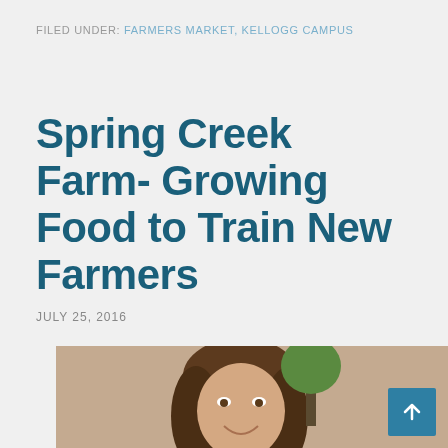FILED UNDER: FARMERS MARKET, KELLOGG CAMPUS
Spring Creek Farm- Growing Food to Train New Farmers
JULY 25, 2016
[Figure (photo): Photo of a young woman smiling outdoors on a farm, with a tractor and another person visible in the background. Text at the bottom reads 'With Shar...']